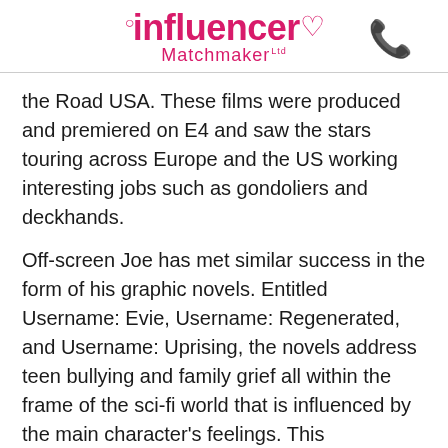[Figure (logo): Influencer Matchmaker Ltd logo with pink text and heart symbol, and a pink phone icon to the right]
the Road USA. These films were produced and premiered on E4 and saw the stars touring across Europe and the US working interesting jobs such as gondoliers and deckhands.
Off-screen Joe has met similar success in the form of his graphic novels. Entitled Username: Evie, Username: Regenerated, and Username: Uprising, the novels address teen bullying and family grief all within the frame of the sci-fi world that is influenced by the main character's feelings. This beautifully illustrated series has won Joe a cult following and shows just how creative this